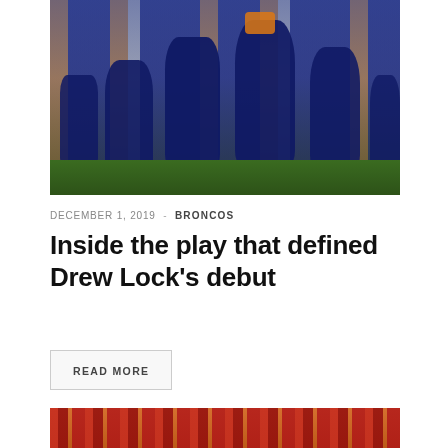[Figure (photo): Football players in Denver Broncos navy and orange uniforms running on the field, with an orange crowd/banner in the background.]
DECEMBER 1, 2019  -  BRONCOS
Inside the play that defined Drew Lock's debut
READ MORE
[Figure (photo): Partial view of a second football photo, showing a crowd in red and a field, cropped at the bottom of the page.]